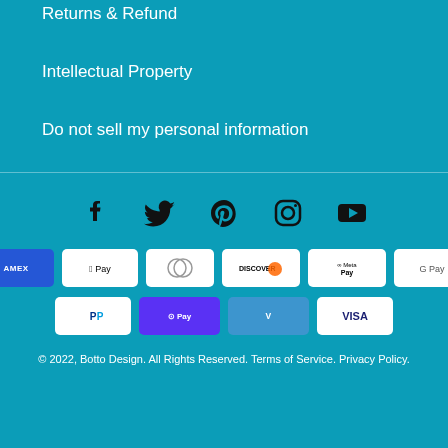Returns & Refund
Intellectual Property
Do not sell my personal information
[Figure (infographic): Social media icons: Facebook, Twitter, Pinterest, Instagram, YouTube]
[Figure (infographic): Payment method icons: Amazon, Amex, Apple Pay, Diners Club, Discover, Meta Pay, Google Pay, Mastercard, PayPal, Shop Pay, Venmo, Visa]
© 2022, Botto Design. All Rights Reserved. Terms of Service. Privacy Policy.